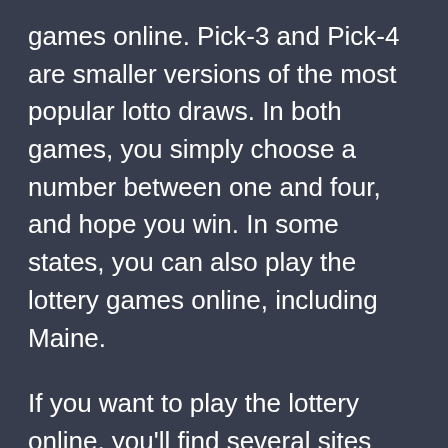games online. Pick-3 and Pick-4 are smaller versions of the most popular lotto draws. In both games, you simply choose a number between one and four, and hope you win. In some states, you can also play the lottery games online, including Maine.
If you want to play the lottery online, you'll find several sites that have both a mobile and desktop version. A tablet or smartphone with Internet access can allow you to purchase lottery tickets, and the top lottery sites offer a variety of lottery games for both Android and iOS. Some of these websites also allow you to